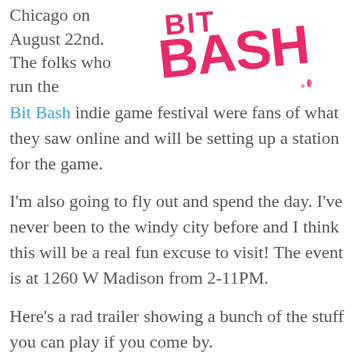Chicago on August 22nd. The folks who run the Bit Bash indie game festival were fans of what they saw online and will be setting up a station for the game.
[Figure (logo): Bit Bash logo in pink/magenta brush-stroke style lettering]
I'm also going to fly out and spend the day. I've never been to the windy city before and I think this will be a real fun excuse to visit! The event is at 1260 W Madison from 2-11PM.
Here's a rad trailer showing a bunch of the stuff you can play if you come by.
[Figure (screenshot): Dark video thumbnail placeholder]